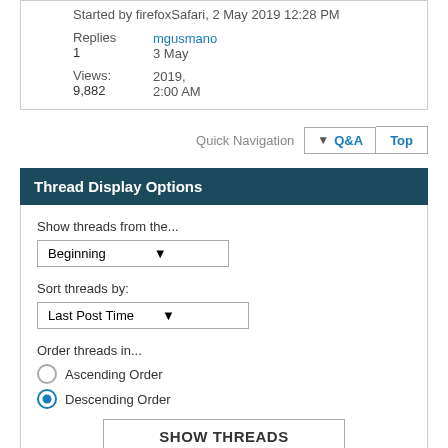Started by firefoxSafari, 2 May 2019 12:28 PM
Replies: 1  mgusmano  3 May 2019, 2:00 AM  Views: 9,882
Quick Navigation  Q&A  Top
Thread Display Options
Show threads from the...  Beginning
Sort threads by:  Last Post Time
Order threads in...  Ascending Order  Descending Order
SHOW THREADS